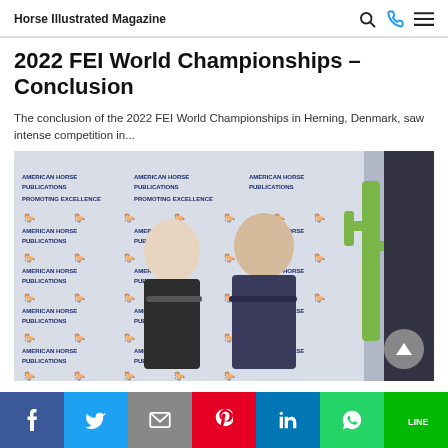Horse Illustrated Magazine
2022 FEI World Championships – Conclusion
The conclusion of the 2022 FEI World Championships in Herning, Denmark, saw intense competition in...
[Figure (photo): Two people posing back-to-back in front of an American Horse Publications step-and-repeat banner backdrop with a decorative cactus visible on the right side.]
Social share bar: Facebook, Twitter, Email, Pinterest, LinkedIn, WhatsApp, LINE